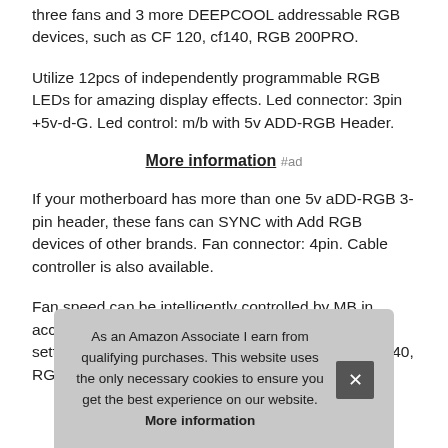three fans and 3 more DEEPCOOL addressable RGB devices, such as CF 120, cf140, RGB 200PRO.
Utilize 12pcs of independently programmable RGB LEDs for amazing display effects. Led connector: 3pin +5v-d-G. Led control: m/b with 5v ADD-RGB Header.
More information #ad
If your motherboard has more than one 5v aDD-RGB 3-pin header, these fans can SYNC with Add RGB devices of other brands. Fan connector: 4pin. Cable controller is also available.
Fan speed can be intelligently controlled by MB in accordance with the motherboard temperature curve settings. You can also sync fan with RGB device, cf140, RGB 200PRO.
As an Amazon Associate I earn from qualifying purchases. This website uses the only necessary cookies to ensure you get the best experience on our website. More information